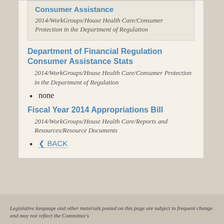Consumer Assistance
2014/WorkGroups/House Health Care/Consumer Protection in the Department of Regulation
Department of Financial Regulation Consumer Assistance Stats
2014/WorkGroups/House Health Care/Consumer Protection in the Department of Regulation
none
Fiscal Year 2014 Appropriations Bill
2014/WorkGroups/House Health Care/Reports and Resources/Resource Documents
‹ BACK
Legislative language and other materials posted on this page are subject to frequent change and may not reflect the Committee's